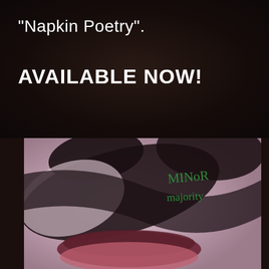“Napkin Poetry”.
AVAILABLE NOW!
[Figure (photo): Album cover for 'Minor Majority' showing a close-up of lips and nose with a dark shadow cast across a light pink/lavender background. Green handwritten text reads 'MINoR majority' in the upper right area of the image.]